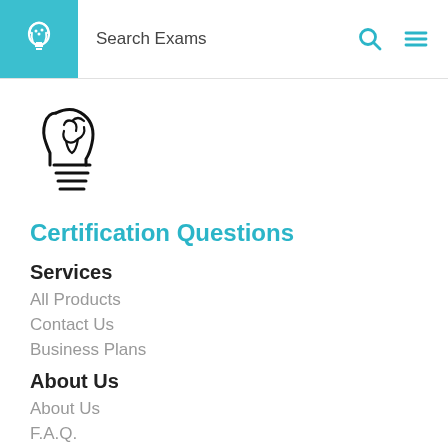Search Exams
[Figure (logo): Brain lightbulb logo icon, large black outline version]
Certification Questions
Services
All Products
Contact Us
Business Plans
About Us
About Us
F.A.Q.
Work With Us